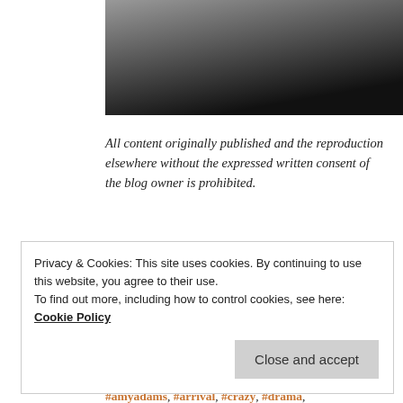[Figure (photo): Partial photo strip at top of page, dark background with partial view of a person]
All content originally published and the reproduction elsewhere without the expressed written consent of the blog owner is prohibited.
Photo credits: http://www.impawards.com; http://www.imdb.com
Posted in Drama, movie review, Mystery, Rave, Sci Fi | Tagged #alienscience, #amazing, #amazingmovie, #amyadams, #arrival, #crazy, #drama, #forestwhitaker, #greatactors, #greatactresses
Privacy & Cookies: This site uses cookies. By continuing to use this website, you agree to their use.
To find out more, including how to control cookies, see here: Cookie Policy
Close and accept